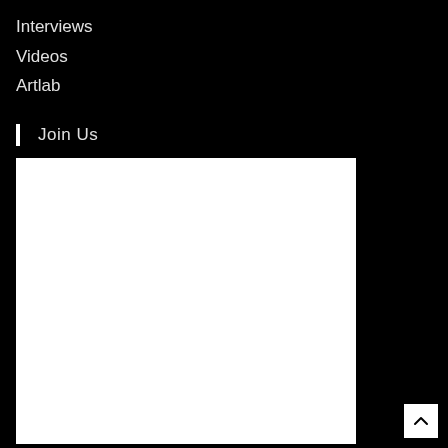Interviews
Videos
Artlab
Join Us
[Figure (other): White rectangle/box area on black background, appears to be a content embed or image placeholder]
[Figure (other): Scroll to top button — white square with upward-pointing chevron arrow]